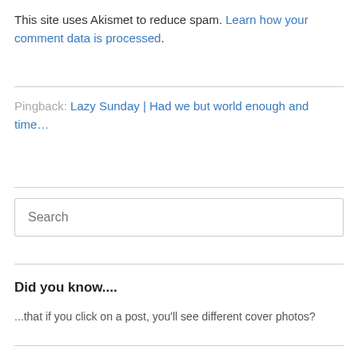This site uses Akismet to reduce spam. Learn how your comment data is processed.
Pingback: Lazy Sunday | Had we but world enough and time…
[Figure (other): Search input box with placeholder text 'Search']
Did you know....
...that if you click on a post, you'll see different cover photos?